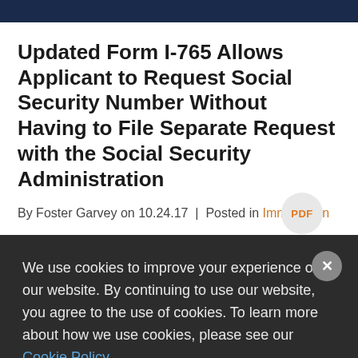Updated Form I-765 Allows Applicant to Request Social Security Number Without Having to File Separate Request with the Social Security Administration
By Foster Garvey on 10.24.17 | Posted in Immigration
We use cookies to improve your experience on our website. By continuing to use our website, you agree to the use of cookies. To learn more about how we use cookies, please see our Cookie Policy.